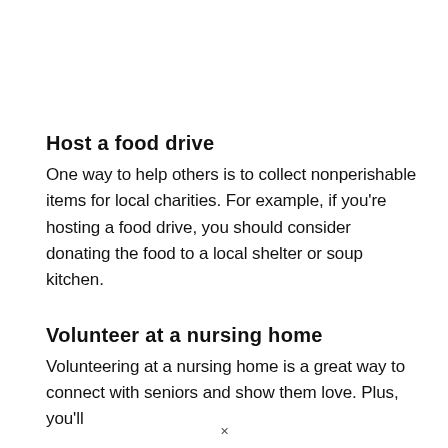Host a food drive
One way to help others is to collect nonperishable items for local charities. For example, if you're hosting a food drive, you should consider donating the food to a local shelter or soup kitchen.
Volunteer at a nursing home
Volunteering at a nursing home is a great way to connect with seniors and show them love. Plus, you'll